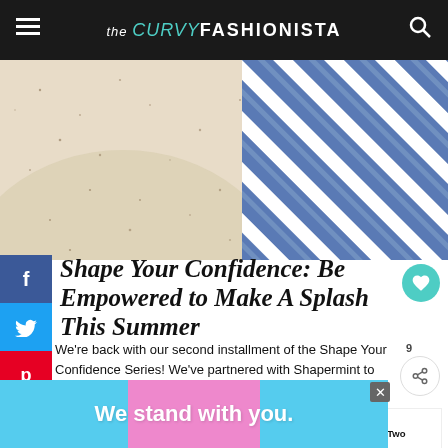the CURVY FASHIONISTA
[Figure (photo): Close-up of speckled cream/beige swimsuit fabric on the left and blue and white diagonal stripes fabric on the right, representing swimwear for summer.]
Shape Your Confidence: Be Empowered to Make A Splash This Summer
We're back with our second installment of the Shape Your Confidence Series! We've partnered with Shapermint to empower YOU to celebrate YOUR shape and confidence.
[Figure (infographic): Advertisement banner reading 'We stand with you.' with blue and pink color blocks.]